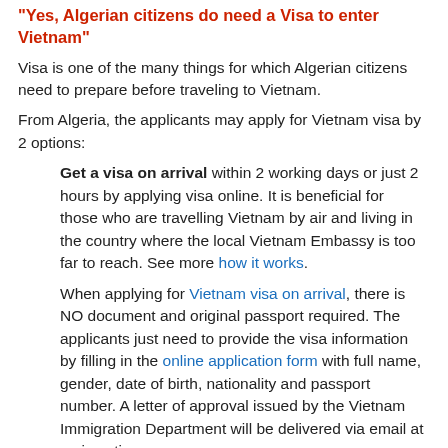"Yes, Algerian citizens do need a Visa to enter Vietnam"
Visa is one of the many things for which Algerian citizens need to prepare before traveling to Vietnam.
From Algeria, the applicants may apply for Vietnam visa by 2 options:
Get a visa on arrival within 2 working days or just 2 hours by applying visa online. It is beneficial for those who are travelling Vietnam by air and living in the country where the local Vietnam Embassy is too far to reach. See more how it works.
When applying for Vietnam visa on arrival, there is NO document and original passport required. The applicants just need to provide the visa information by filling in the online application form with full name, gender, date of birth, nationality and passport number. A letter of approval issued by the Vietnam Immigration Department will be delivered via email at a given time.
Get a traditional Vietnam visa from Vietnam Embassy or Consulate in Algeria and it takes 3-5